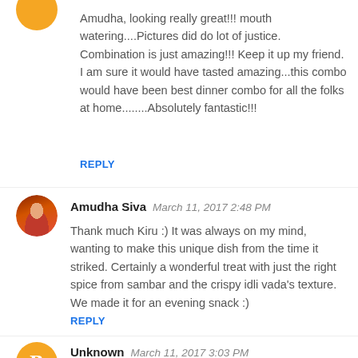Amudha, looking really great!!! mouth watering....Pictures did do lot of justice. Combination is just amazing!!! Keep it up my friend. I am sure it would have tasted amazing...this combo would have been best dinner combo for all the folks at home........Absolutely fantastic!!!
REPLY
Amudha Siva  March 11, 2017 2:48 PM
Thank much Kiru :) It was always on my mind, wanting to make this unique dish from the time it striked. Certainly a wonderful treat with just the right spice from sambar and the crispy idli vada's texture. We made it for an evening snack :)
REPLY
Unknown  March 11, 2017 3:03 PM
Unique and irresistible mini tiffin. Photos are tempting.